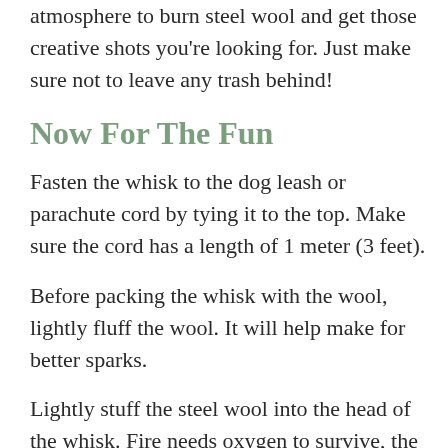atmosphere to burn steel wool and get those creative shots you're looking for. Just make sure not to leave any trash behind!
Now For The Fun
Fasten the whisk to the dog leash or parachute cord by tying it to the top. Make sure the cord has a length of 1 meter (3 feet).
Before packing the whisk with the wool, lightly fluff the wool. It will help make for better sparks.
Lightly stuff the steel wool into the head of the whisk. Fire needs oxygen to survive, the same goes for the steel wool. Let it breathe. I only use half a